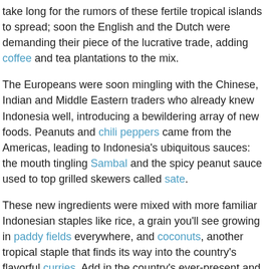take long for the rumors of these fertile tropical islands to spread; soon the English and the Dutch were demanding their piece of the lucrative trade, adding coffee and tea plantations to the mix.
The Europeans were soon mingling with the Chinese, Indian and Middle Eastern traders who already knew Indonesia well, introducing a bewildering array of new foods. Peanuts and chili peppers came from the Americas, leading to Indonesia's ubiquitous sauces: the mouth tingling Sambal and the spicy peanut sauce used to top grilled skewers called sate.
These new ingredients were mixed with more familiar Indonesian staples like rice, a grain you'll see growing in paddy fields everywhere, and coconuts, another tropical staple that finds its way into the country's flavorful curries. Add in the country's ever-present and wonderfully fresh seafood, some wildly exotic fruits like Durian and rambutan, and you begin to get a sense of the diverse ingredients available to the typical